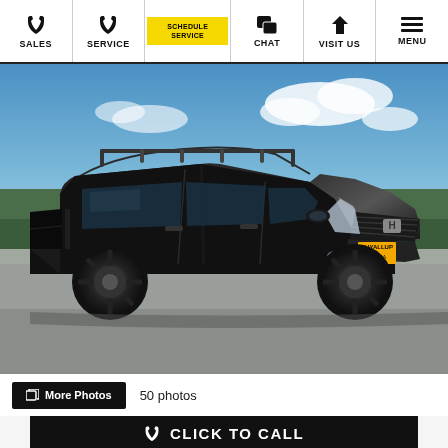SALES | SERVICE | SCHEDULE SERVICE | CHAT | VISIT US | MENU
[Figure (photo): Black Honda Ridgeline pickup truck with roof rack bars, parked in a lot with blue sky and trees in background, featuring a Puyallup dealership license plate frame]
☖ More Photos    50 photos
📞 CLICK TO CALL